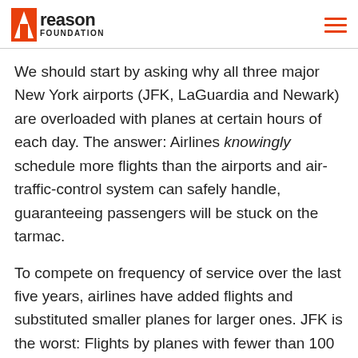reason FOUNDATION
We should start by asking why all three major New York airports (JFK, LaGuardia and Newark) are overloaded with planes at certain hours of each day. The answer: Airlines knowingly schedule more flights than the airports and air-traffic-control system can safely handle, guaranteeing passengers will be stuck on the tarmac.
To compete on frequency of service over the last five years, airlines have added flights and substituted smaller planes for larger ones. JFK is the worst: Flights by planes with fewer than 100 seats having risen 128 percent.